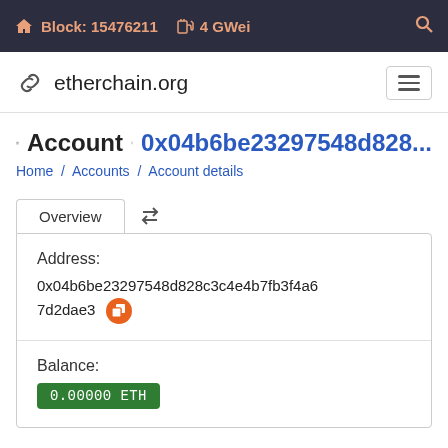Block: 15476211  4 GWei
etherchain.org
Account 0x04b6be23297548d828...
Home / Accounts / Account details
Overview
Address: 0x04b6be23297548d828c3c4e4b7fb3f4a67d2dae3
Balance: 0.00000 ETH